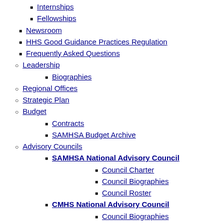Internships
Fellowships
Newsroom
HHS Good Guidance Practices Regulation
Frequently Asked Questions
Leadership
Biographies
Regional Offices
Strategic Plan
Budget
Contracts
SAMHSA Budget Archive
Advisory Councils
SAMHSA National Advisory Council
Council Charter
Council Biographies
Council Roster
CMHS National Advisory Council
Council Biographies
Council Charter
Council Roster
CSAP National Advisory Council
1PC Parrot Anklet Birds Foot Chain Parrot Foot Ring for Parrot I
Council Charter